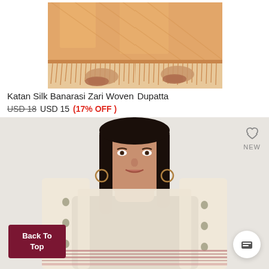[Figure (photo): Top portion of a model wearing an orange/peach Katan Silk Banarasi Zari Woven Dupatta, showing legs and feet with heels, dupatta with fringe visible]
Katan Silk Banarasi Zari Woven Dupatta
USD 18  USD 15  (17% OFF )
[Figure (photo): Model wearing a cream/beige dupatta/stole with small motifs and pink striped border, wearing black top, hoop earrings. Heart/wishlist icon and NEW label visible in top right corner. Back To Top button in bottom left. Chat button in bottom right.]